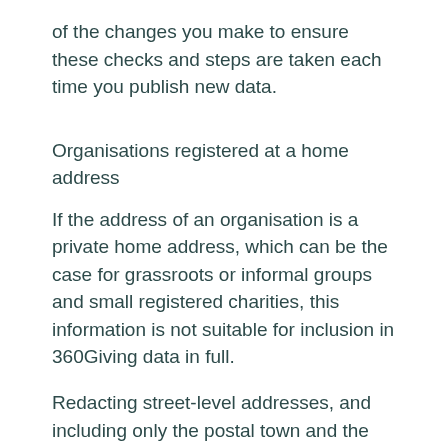of the changes you make to ensure these checks and steps are taken each time you publish new data.
Organisations registered at a home address
If the address of an organisation is a private home address, which can be the case for grassroots or informal groups and small registered charities, this information is not suitable for inclusion in 360Giving data in full.
Redacting street-level addresses, and including only the postal town and the postcode may be sufficient to prevent the information from identifying an individual. However the